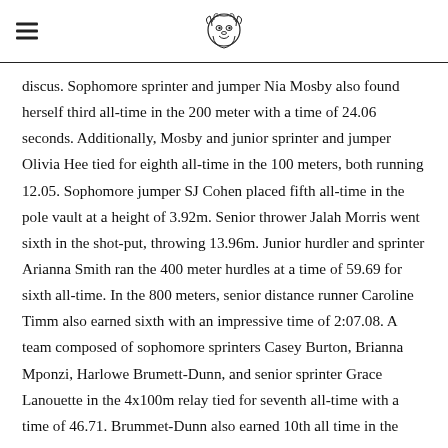[Hamburger menu icon] [School mascot logo]
discus. Sophomore sprinter and jumper Nia Mosby also found herself third all-time in the 200 meter with a time of 24.06 seconds. Additionally, Mosby and junior sprinter and jumper Olivia Hee tied for eighth all-time in the 100 meters, both running 12.05. Sophomore jumper SJ Cohen placed fifth all-time in the pole vault at a height of 3.92m. Senior thrower Jalah Morris went sixth in the shot-put, throwing 13.96m. Junior hurdler and sprinter Arianna Smith ran the 400 meter hurdles at a time of 59.69 for sixth all-time. In the 800 meters, senior distance runner Caroline Timm also earned sixth with an impressive time of 2:07.08. A team composed of sophomore sprinters Casey Burton, Brianna Mponzi, Harlowe Brumett-Dunn, and senior sprinter Grace Lanouette in the 4x100m relay tied for seventh all-time with a time of 46.71. Brummet-Dunn also earned 10th all time in the